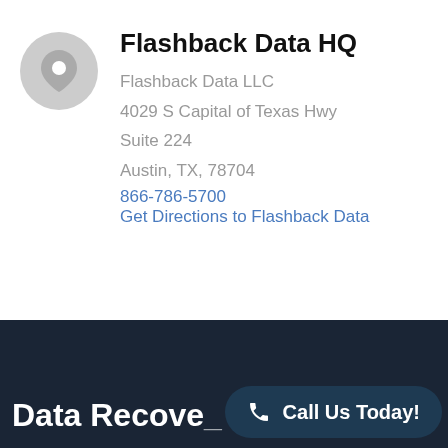[Figure (illustration): Gray circular location pin icon]
Flashback Data HQ
Flashback Data LLC
4029 S Capital of Texas Hwy
Suite 224
Austin, TX, 78704
866-786-5700
Get Directions to Flashback Data
Data Recove...
Call Us Today!